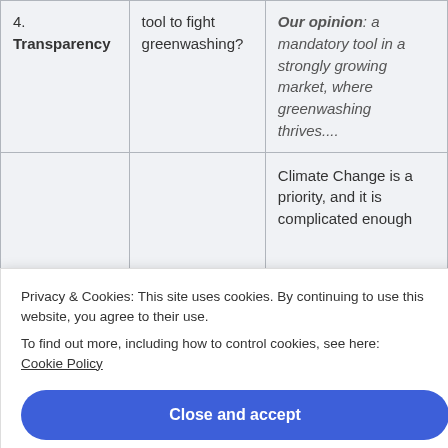| 4.
Transparency | tool to fight greenwashing? | Our opinion: a mandatory tool in a strongly growing market, where greenwashing thrives.... |
|  |  | Climate Change is a priority, and it is complicated enough |
|  | "sustainable" |  |
Privacy & Cookies: This site uses cookies. By continuing to use this website, you agree to their use.
To find out more, including how to control cookies, see here:
Cookie Policy
Close and accept